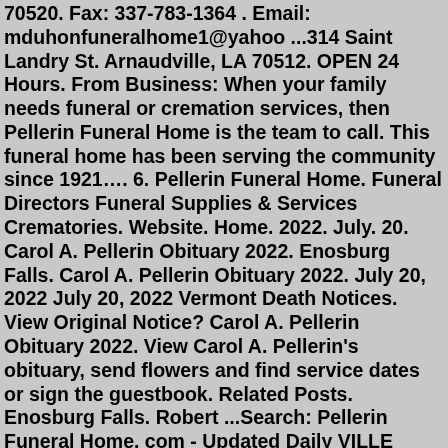70520. Fax: 337-783-1364 . Email: mduhonfuneralhome1@yahoo ...314 Saint Landry St. Arnaudville, LA 70512. OPEN 24 Hours. From Business: When your family needs funeral or cremation services, then Pellerin Funeral Home is the team to call. This funeral home has been serving the community since 1921…. 6. Pellerin Funeral Home. Funeral Directors Funeral Supplies & Services Crematories. Website. Home. 2022. July. 20. Carol A. Pellerin Obituary 2022. Enosburg Falls. Carol A. Pellerin Obituary 2022. July 20, 2022 July 20, 2022 Vermont Death Notices. View Original Notice? Carol A. Pellerin Obituary 2022. View Carol A. Pellerin's obituary, send flowers and find service dates or sign the guestbook. Related Posts. Enosburg Falls. Robert ...Search: Pellerin Funeral Home. com - Updated Daily VILLE PLATTE-Funeral Services will be held at 10:00 AM at Church of Christ in Pine Prairie on Wednesday, March 11, 2020, for David Wayne Pellerin, 55, who passed away on Monday, March 9, 2020 This organization is not BBB accredited The